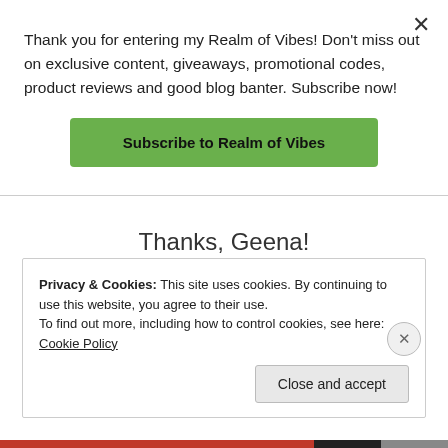Thank you for entering my Realm of Vibes! Don't miss out on exclusive content, giveaways, promotional codes, product reviews and good blog banter. Subscribe now!
Subscribe to Realm of Vibes
Thanks, Geena!
★ Like
REPLY
Privacy & Cookies: This site uses cookies. By continuing to use this website, you agree to their use.
To find out more, including how to control cookies, see here: Cookie Policy
Close and accept